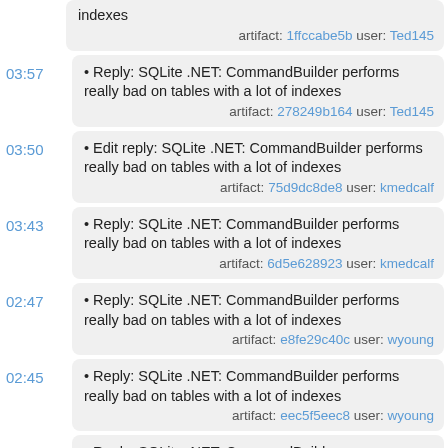indexes  artifact: 1ffccabe5b user: Ted145
• Reply: SQLite .NET: CommandBuilder performs really bad on tables with a lot of indexes  artifact: 278249b164 user: Ted145
• Edit reply: SQLite .NET: CommandBuilder performs really bad on tables with a lot of indexes  artifact: 75d9dc8de8 user: kmedcalf
• Reply: SQLite .NET: CommandBuilder performs really bad on tables with a lot of indexes  artifact: 6d5e628923 user: kmedcalf
• Reply: SQLite .NET: CommandBuilder performs really bad on tables with a lot of indexes  artifact: e8fe29c40c user: wyoung
• Reply: SQLite .NET: CommandBuilder performs really bad on tables with a lot of indexes  artifact: eec5f5eec8 user: wyoung
• Reply: SQLite .NET: CommandBuilder